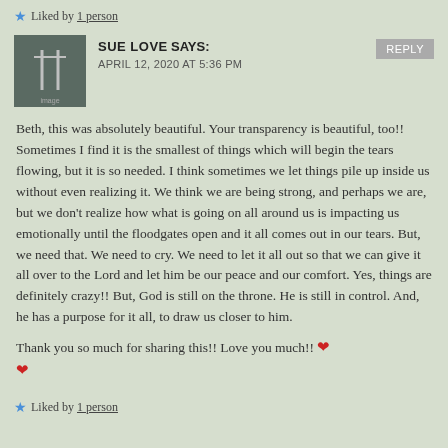★ Liked by 1 person
SUE LOVE SAYS:
APRIL 12, 2020 AT 5:36 PM
Beth, this was absolutely beautiful. Your transparency is beautiful, too!! Sometimes I find it is the smallest of things which will begin the tears flowing, but it is so needed. I think sometimes we let things pile up inside us without even realizing it. We think we are being strong, and perhaps we are, but we don't realize how what is going on all around us is impacting us emotionally until the floodgates open and it all comes out in our tears. But, we need that. We need to cry. We need to let it all out so that we can give it all over to the Lord and let him be our peace and our comfort. Yes, things are definitely crazy!! But, God is still on the throne. He is still in control. And, he has a purpose for it all, to draw us closer to him.
Thank you so much for sharing this!! Love you much!! ❤ ❤
★ Liked by 1 person